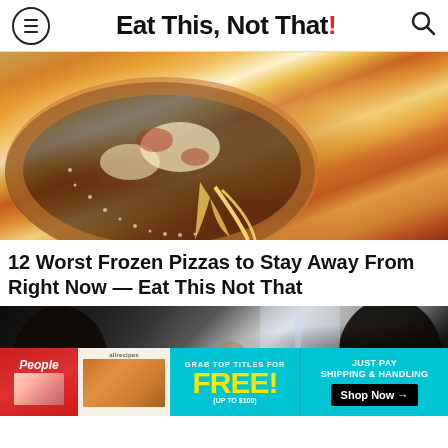Eat This, Not That!
[Figure (photo): Close-up photo of a cheesy deep dish pizza being lifted, showing melted cheese strings pulling from the slice, with golden-brown crust and toppings]
12 Worst Frozen Pizzas to Stay Away From Right Now — Eat This Not That
[Figure (photo): Photo of people in a restaurant or dining setting, partially obscured with blurry foreground figures in dark tones]
[Figure (infographic): Advertisement banner: Grab top titles for FREE! (up to $100) Just pay shipping & handling. Shop Now arrow button. Features People magazine and allrecipes branding on left side.]